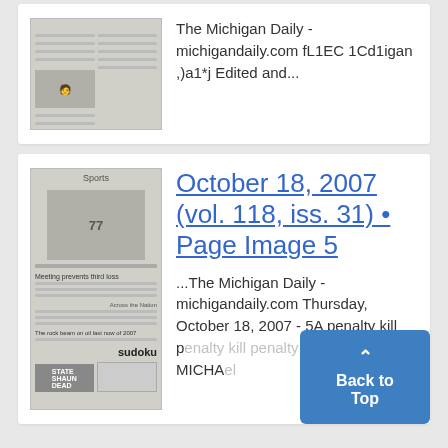[Figure (screenshot): Thumbnail of a newspaper page (Michigan Daily)]
The Michigan Daily - michigandaily.com fL1EC 1Cd1igan ,)a1*j Edited and...
[Figure (screenshot): Thumbnail of Michigan Daily Sports page, October 18 2007, with football player #77 image and sudoku]
October 18, 2007 (vol. 118, iss. 31) • Page Image 5
...The Michigan Daily - michigandaily.com Thursday, October 18, 2007 - 5A penalty kill p... 'M' By MICHA...
Back to Top